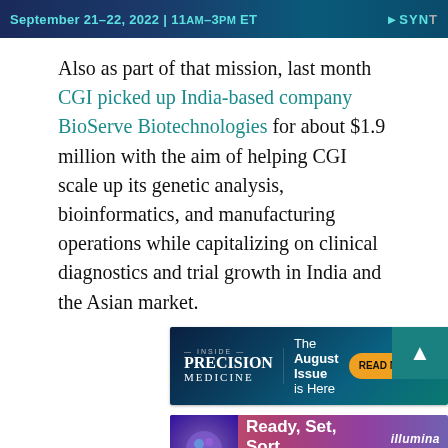September 21–22, 2022 | 11AM–3PM ET  ▶SYNT
Also as part of that mission, last month CGI picked up India-based company BioServe Biotechnologies for about $1.9 million with the aim of helping CGI scale up its genetic analysis, bioinformatics, and manufacturing operations while capitalizing on clinical diagnostics and trial growth in India and the Asian market.
[Figure (screenshot): Advertisement banner for Inside Precision Medicine: 'The August Issue is Here' with READ NOW button]
[Figure (screenshot): Advertisement banner for Illumina: 'Ready, Set, Sort' with brain image, DNA Methylation Profiling classifies brain tumors, Learn more button]